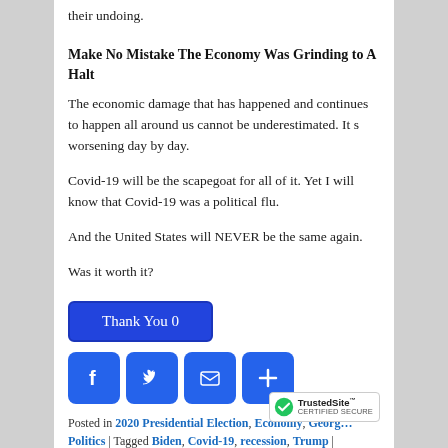their undoing.
Make No Mistake The Economy Was Grinding to A Halt
The economic damage that has happened and continues to happen all around us cannot be underestimated. It s worsening day by day.
Covid-19 will be the scapegoat for all of it. Yet I will know that Covid-19 was a political flu.
And the United States will NEVER be the same again.
Was it worth it?
[Figure (other): Thank You 0 button (blue rounded rectangle) and four social share buttons: Facebook (f), Twitter (bird), Email (envelope), Share (+)]
Posted in 2020 Presidential Election, Economy, Georg… Politics | Tagged Biden, Covid-19, recession, Trump |